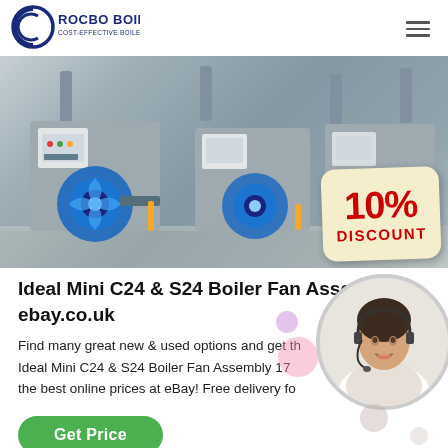[Figure (logo): Rocbo Boiler logo — circular C icon in blue with text ROCBO BOILER and subtitle COST-EFFECTIVE BOILER SUPPLIER]
[Figure (photo): Industrial boiler room showing multiple large grey boiler units with blue centrifugal fans, piping, control panels, on a white floor. A 10% DISCOUNT badge overlaid bottom-right.]
Ideal Mini C24 & S24 Boiler Fan Assembly | ebay.co.uk
Find many great new & used options and get the best deals for Ideal Mini C24 & S24 Boiler Fan Assembly 17... the best online prices at eBay! Free delivery fo...
[Figure (photo): Customer service representative — woman wearing headset smiling, shown in circular frame, with decorative pink and purple bubbles]
Get Price